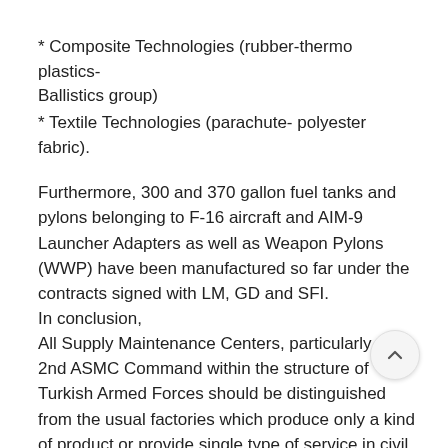* Composite Technologies (rubber-thermo plastics-Ballistics group)
* Textile Technologies (parachute- polyester fabric).
Furthermore, 300 and 370 gallon fuel tanks and pylons belonging to F-16 aircraft and AIM-9 Launcher Adapters as well as Weapon Pylons (WWP) have been manufactured so far under the contracts signed with LM, GD and SFI.
In conclusion,
All Supply Maintenance Centers, particularly the 2nd ASMC Command within the structure of Turkish Armed Forces should be distinguished from the usual factories which produce only a kind of product or provide single type of service in civil sector. Especially Air Supply Maintenance Centers (A subordinate to Air Force Command are indeed Technological Centers - more than just an ordinary factory. The said centers are a Technical Authority